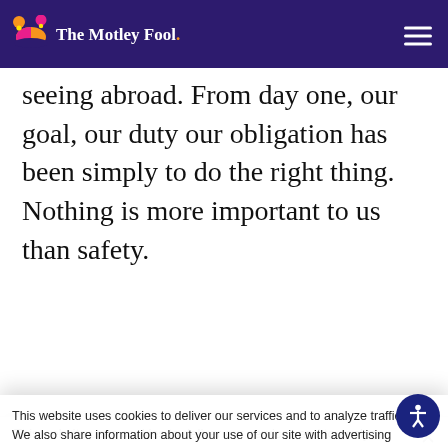The Motley Fool
seeing abroad. From day one, our goal, our duty our obligation has been simply to do the right thing. Nothing is more important to us than safety.
[Figure (other): Cboe advertisement banner: 'Think Index Options are Out of Reach? Access smaller contracts with the same benefits as big... Learn More']
This website uses cookies to deliver our services and to analyze traffic. We also share information about your use of our site with advertising and other partners. Privacy Policy
Got it
Cookie Settings